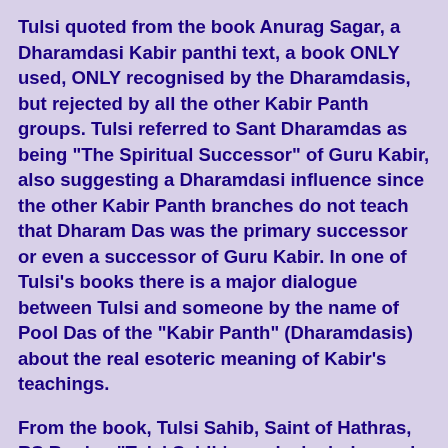Tulsi quoted from the book Anurag Sagar, a Dharamdasi Kabir panthi text, a book ONLY used, ONLY recognised by the Dharamdasis, but rejected by all the other Kabir Panth groups. Tulsi referred to Sant Dharamdas as being "The Spiritual Successor" of Guru Kabir, also suggesting a Dharamdasi influence since the other Kabir Panth branches do not teach that Dharam Das was the primary successor or even a successor of Guru Kabir. In one of Tulsi's books there is a major dialogue between Tulsi and someone by the name of Pool Das of the "Kabir Panth" (Dharamdasis) about the real esoteric meaning of Kabir's teachings.
From the book, Tulsi Sahib, Saint of Hathras, RS Books: "Tulsi Sahib's works include words